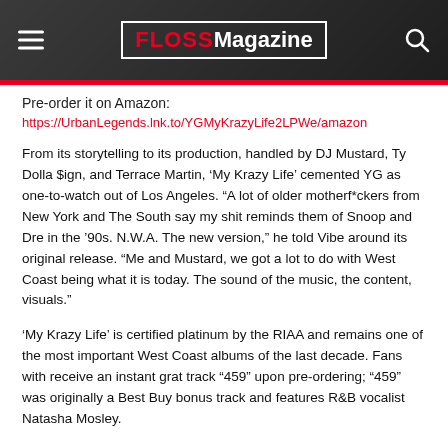FLOSS Magazine
Pre-order it on Amazon:
https://UrbanLegends.lnk.to/YGMyKrazyLife2LPWe/amazon
From its storytelling to its production, handled by DJ Mustard, Ty Dolla $ign, and Terrace Martin, ‘My Krazy Life’ cemented YG as one-to-watch out of Los Angeles. “A lot of older motherf*ckers from New York and The South say my shit reminds them of Snoop and Dre in the ’90s. N.W.A. The new version,” he told Vibe around its original release. “Me and Mustard, we got a lot to do with West Coast being what it is today. The sound of the music, the content, visuals.”
‘My Krazy Life’ is certified platinum by the RIAA and remains one of the most important West Coast albums of the last decade. Fans with receive an instant grat track “459” upon pre-ordering; “459” was originally a Best Buy bonus track and features R&B vocalist Natasha Mosley.